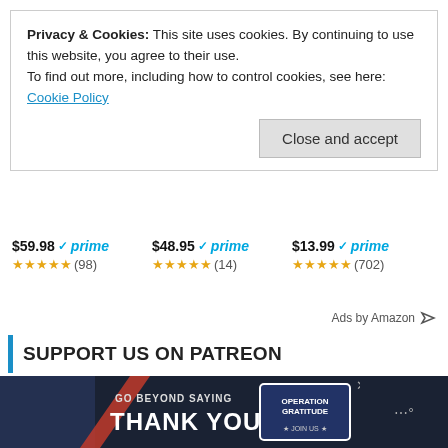Privacy & Cookies: This site uses cookies. By continuing to use this website, you agree to their use.
To find out more, including how to control cookies, see here: Cookie Policy
Close and accept
$59.98 ✓prime ★★★★★ (98)
$48.95 ✓prime ★★★★★ (14)
$13.99 ✓prime ★★★★★ (702)
Ads by Amazon
SUPPORT US ON PATREON
Support GeekDad on Patreon!
BECOME A PATRON
[Figure (other): Bottom advertisement banner: GO BEYOND SAYING THANK YOU - Operation Gratitude JOIN US]